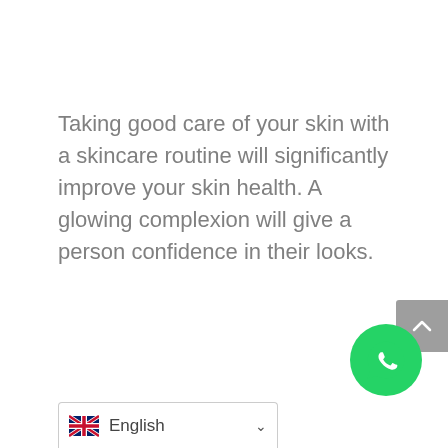Taking good care of your skin with a skincare routine will significantly improve your skin health. A glowing complexion will give a person confidence in their looks.
[Figure (screenshot): Scroll-to-top button (grey arrow up) on the right edge of the page]
[Figure (logo): WhatsApp green circle button with white phone/chat icon, bottom right corner]
[Figure (screenshot): Language selector dropdown showing UK flag and 'English' with chevron, bottom left area]